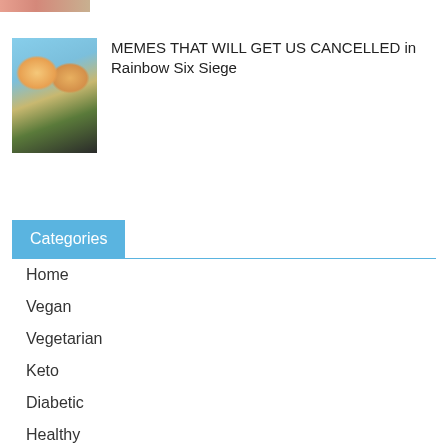[Figure (photo): Partial view of a colorful image strip at the top, showing cartoon-style faces.]
[Figure (illustration): Cartoon thumbnail image showing two exaggerated cartoon characters with wide open mouths, colorful background with blue sky and green foliage.]
MEMES THAT WILL GET US CANCELLED in Rainbow Six Siege
Categories
Home
Vegan
Vegetarian
Keto
Diabetic
Healthy
Salad
Soups